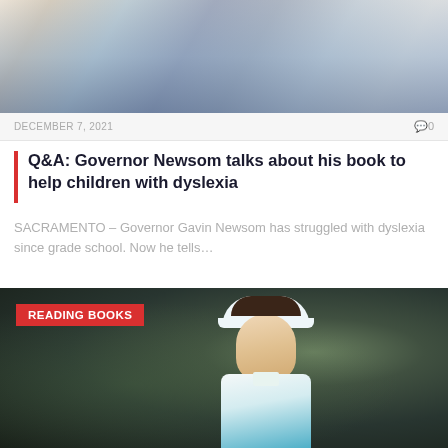[Figure (photo): Two photos: top shows a man reading a newspaper to a group of children seated on the floor; bottom shows a female golfer wearing a white Nike visor and teal/white outfit, with a red 'READING BOOKS' label overlay.]
DECEMBER 7, 2021
0
Q&A: Governor Newsom talks about his book to help children with dyslexia
SACRAMENTO – Governor Gavin Newsom has struggled with dyslexia since grade school. Now he tells…